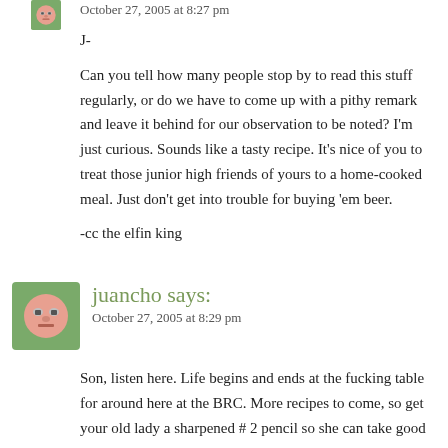October 27, 2005 at 8:27 pm
J-

Can you tell how many people stop by to read this stuff regularly, or do we have to come up with a pithy remark and leave it behind for our observation to be noted? I'm just curious. Sounds like a tasty recipe. It's nice of you to treat those junior high friends of yours to a home-cooked meal. Just don't get into trouble for buying 'em beer.

-cc the elfin king
juancho says:
October 27, 2005 at 8:29 pm
Son, listen here. Life begins and ends at the fucking table for around here at the BRC. More recipes to come, so get your old lady a sharpened # 2 pencil so she can take good notes.
juancho says:
October 27, 2005 at 9:11 pm
CC- That last comment was for the other fella, not you, in case